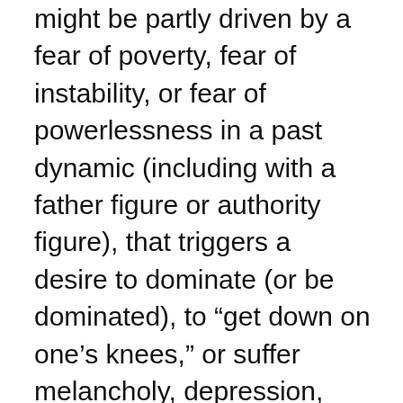might be partly driven by a fear of poverty, fear of instability, or fear of powerlessness in a past dynamic (including with a father figure or authority figure), that triggers a desire to dominate (or be dominated), to “get down on one’s knees,” or suffer melancholy, depression, joint pain (probably from a knee injury, or knee surgeries), or a festering resentment, if Mars-in-Capricorn feels somehow defeated (especially in a job loss or financial loss scenario). In these situations, where Mars-in-Capricorn is vulnerable, a tendency for gambling, making/taking financial risks, or indulging in impetuous social